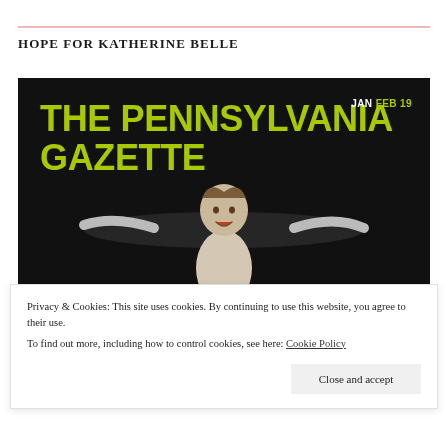HOPE FOR KATHERINE BELLE
[Figure (photo): Magazine cover of The Pennsylvania Gazette, Jan/Feb 2019 issue. Bold yellow-green text reads 'THE PENNSYLVANIA GAZETTE' on a dark background with a photo of a child with arms outstretched.]
Privacy & Cookies: This site uses cookies. By continuing to use this website, you agree to their use.
To find out more, including how to control cookies, see here: Cookie Policy